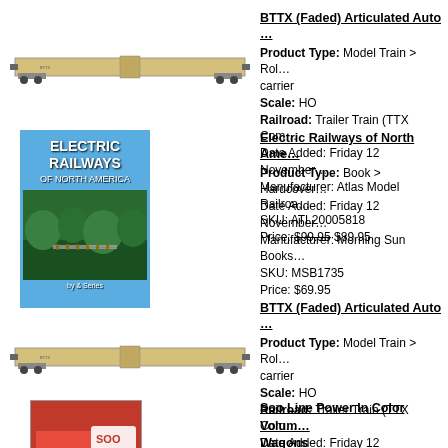[Figure (photo): Model train - BTTX Faded Articulated Auto carrier, tan/cream colored long flatcar, HO scale]
BTTX (Faded) Articulated Auto ...
Product Type: Model Train > Rol... carrier
Scale: HO
Railroad: Trailer Train (TTX Com...
Date Added: Friday 12 November...
Manufacturer: Atlas Model Railroa...
SKU: ATL20005818
Price: $99.95 $89.95
[Figure (photo): Book cover - Electric Railways of North America, blue cover with aerial photo of railway]
Electric Railways of North Ame...
Product Type: Book > Hardcover...
Date Added: Friday 12 November...
Manufacturer: Morning Sun Books...
SKU: MSB1735
Price: $69.95
[Figure (photo): Model train - BTTX Faded Articulated Auto carrier, tan/cream colored long flatcar, HO scale]
BTTX (Faded) Articulated Auto ...
Product Type: Model Train > Rol... carrier
Scale: HO
Railroad: Trailer Train (TTX Com...
Date Added: Friday 12 November...
Manufacturer: Atlas Model Railroa...
SKU: ATL20005816
Price: $99.95 $89.95
[Figure (photo): Book cover - Soo Line Power In Color Volume ... Wagons, red cover]
Soo Line Power In Color Volum...
Wagons